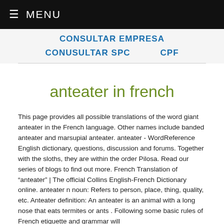≡ MENU
CONSULTAR EMPRESA
CONUSULTAR SPC
CPF
anteater in french
This page provides all possible translations of the word giant anteater in the French language. Other names include banded anteater and marsupial anteater. anteater - WordReference English dictionary, questions, discussion and forums. Together with the sloths, they are within the order Pilosa. Read our series of blogs to find out more. French Translation of "anteater" | The official Collins English-French Dictionary online. anteater n noun: Refers to person, place, thing, quality, etc. Anteater definition: An anteater is an animal with a long nose that eats termites or ants . Following some basic rules of French etiquette and grammar will